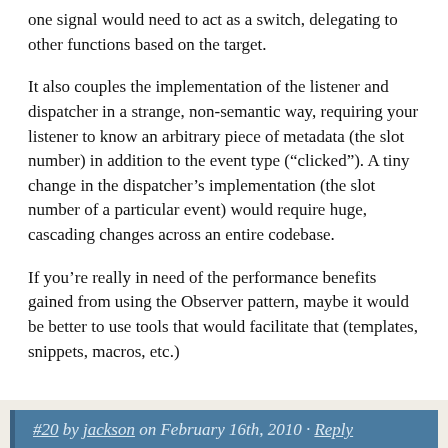one signal would need to act as a switch, delegating to other functions based on the target.
It also couples the implementation of the listener and dispatcher in a strange, non-semantic way, requiring your listener to know an arbitrary piece of metadata (the slot number) in addition to the event type (“clicked”). A tiny change in the dispatcher’s implementation (the slot number of a particular event) would require huge, cascading changes across an entire codebase.
If you’re really in need of the performance benefits gained from using the Observer pattern, maybe it would be better to use tools that would facilitate that (templates, snippets, macros, etc.)
#20 by jackson on February 16th, 2010 · Reply
Check out the example titled “Usage Example (Slower)” using FunctionSlot. That shows how to use TurboSignals like you’d use